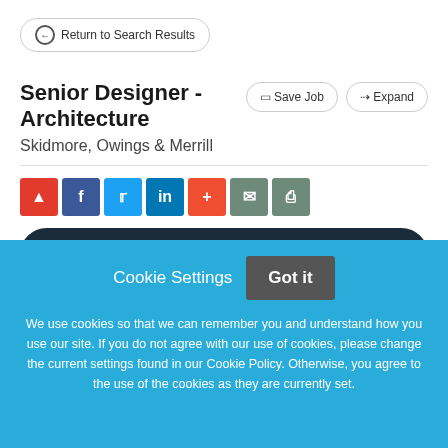Return to Search Results
Senior Designer - Architecture
Skidmore, Owings & Merrill
[Figure (infographic): Social sharing icon buttons: red share, Facebook, Twitter, LinkedIn, plus, email, print]
APPLY NOW
Cookie Settings
Got it
We use cookies so that we can remember you and understand how you use our site. If you do not agree with our use of cookies, please change the current settings found in our Cookie Policy. Otherwise, you agree to the use of the cookies as they are currently set.